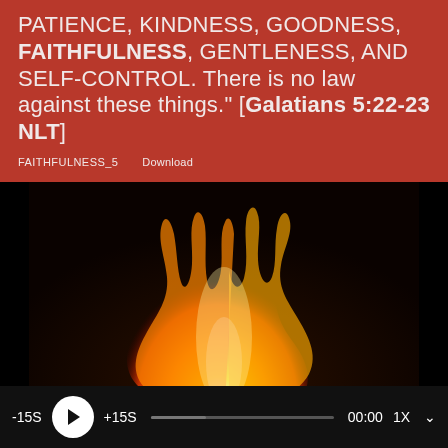PATIENCE, KINDNESS, GOODNESS, FAITHFULNESS, GENTLENESS, AND SELF-CONTROL. There is no law against these things." [Galatians 5:22-23 NLT]
FAITHFULNESS_5    Download
[Figure (photo): A close-up photo of a flame burning against a dark background, with orange and yellow fire visible against black.]
-15S  Play  +15S  00:00  1X